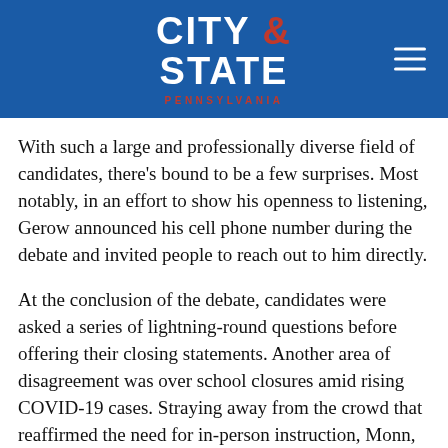CITY & STATE PENNSYLVANIA
With such a large and professionally diverse field of candidates, there's bound to be a few surprises. Most notably, in an effort to show his openness to listening, Gerow announced his cell phone number during the debate and invited people to reach out to him directly.
At the conclusion of the debate, candidates were asked a series of lightning-round questions before offering their closing statements. Another area of disagreement was over school closures amid rising COVID-19 cases. Straying away from the crowd that reaffirmed the need for in-person instruction, Monn, Hart and Corman said they would leave school closures to local officials.